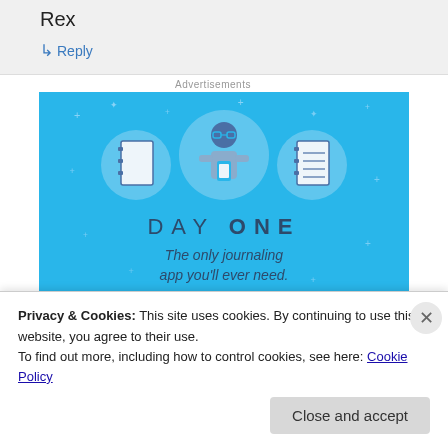Rex
↳ Reply
Advertisements
[Figure (illustration): Day One app advertisement on light blue background. Shows three circular icons: a blank notebook, a person using a phone, and a lined notebook. Text reads 'DAY ONE – The only journaling app you'll ever need.']
Privacy & Cookies: This site uses cookies. By continuing to use this website, you agree to their use.
To find out more, including how to control cookies, see here: Cookie Policy
Close and accept